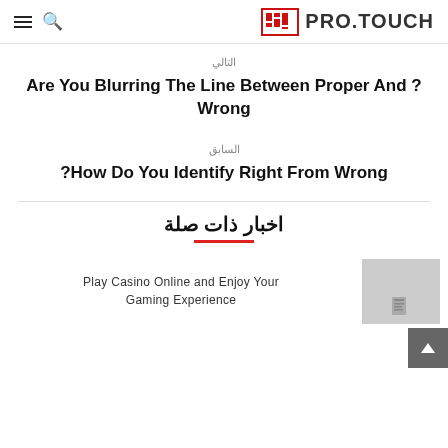PRO.TOUCH
التالي
Are You Blurring The Line Between Proper And ?Wrong
السابق
?How Do You Identify Right From Wrong
اخبار ذات صلة
Play Casino Online and Enjoy Your Gaming Experience